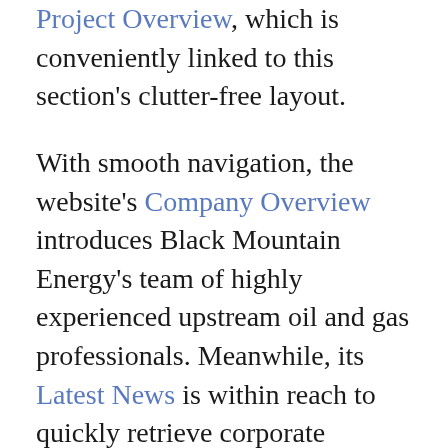Project Overview, which is conveniently linked to this section's clutter-free layout.
With smooth navigation, the website's Company Overview introduces Black Mountain Energy's team of highly experienced upstream oil and gas professionals. Meanwhile, its Latest News is within reach to quickly retrieve corporate updates via its ASX Announcements.
Through the site's Investor Centre, more of Black Mountain Energy's key data await stakeholders, such as its Share Price, Presentations and Why Invest proposition. The company is also able to email news to investors or post on social media as